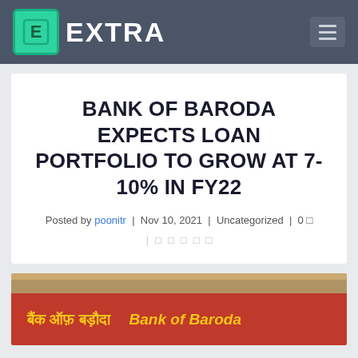EXTRA
BANK OF BARODA EXPECTS LOAN PORTFOLIO TO GROW AT 7-10% IN FY22
Posted by poonitr | Nov 10, 2021 | Uncategorized | 0
[Figure (photo): Bank of Baroda signage/banner showing Hindi text 'बैंक ऑफ़ बड़ौदा' and English text 'Bank of Baroda' on a red background]